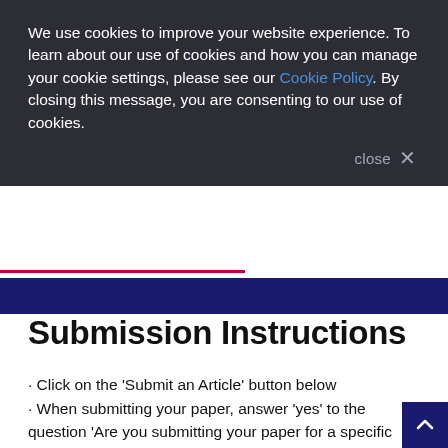We use cookies to improve your website experience. To learn about our use of cookies and how you can manage your cookie settings, please see our Cookie Policy. By closing this message, you are consenting to our use of cookies.
close ×
Submission Instructions
· Click on the 'Submit an Article' button below
· When submitting your paper, answer 'yes' to the question 'Are you submitting your paper for a specific special issue?'